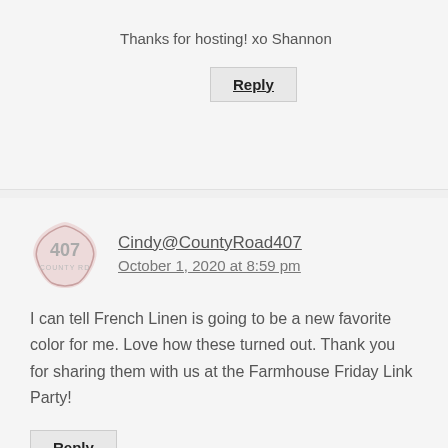Thanks for hosting! xo Shannon
Reply
Cindy@CountyRoad407
October 1, 2020 at 8:59 pm
I can tell French Linen is going to be a new favorite color for me. Love how these turned out. Thank you for sharing them with us at the Farmhouse Friday Link Party!
Reply